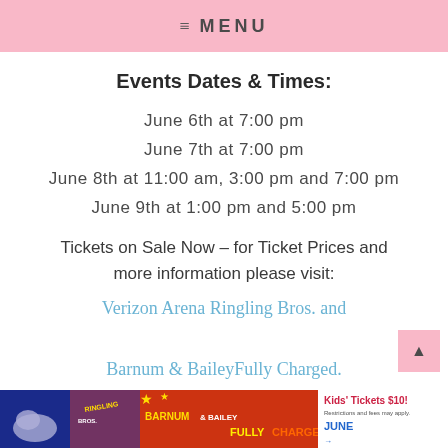≡ MENU
Events Dates & Times:
June 6th at 7:00 pm
June 7th at 7:00 pm
June 8th at 11:00 am, 3:00 pm and 7:00 pm
June 9th at 1:00 pm and 5:00 pm
Tickets on Sale Now – for Ticket Prices and more information please visit:
Verizon Arena Ringling Bros. and Barnum & BaileyFully Charged.
[Figure (photo): Ringling Bros. and Barnum & Bailey Fully Charged circus advertisement banner with Kids' Tickets $10 promotion for June]